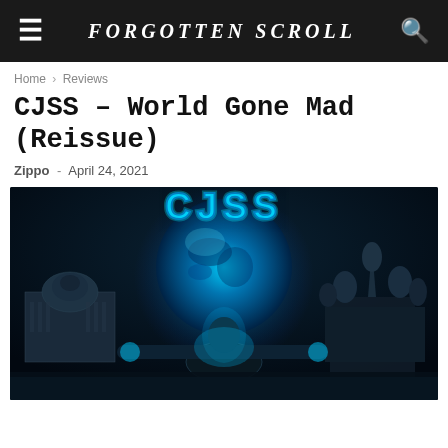FORGOTTEN SCROLL
Home › Reviews
CJSS – World Gone Mad (Reissue)
Zippo - April 24, 2021
[Figure (photo): Album cover art for CJSS World Gone Mad reissue. Dark fantasy illustration showing the 'CJSS' logo in glowing blue lettering at top, with a muscular figure holding a glowing blue Earth/globe, flanked by the US Capitol building on the left and Saint Basil's Cathedral (Moscow) on the right, all against a dark background.]